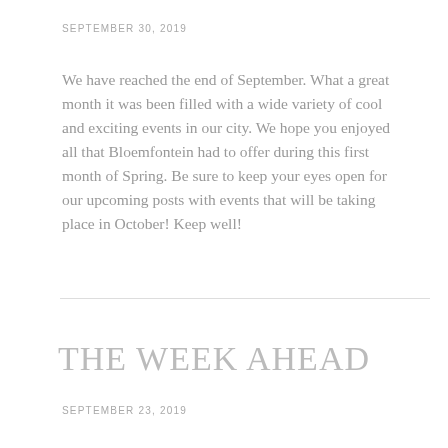SEPTEMBER 30, 2019
We have reached the end of September. What a great month it was been filled with a wide variety of cool and exciting events in our city. We hope you enjoyed all that Bloemfontein had to offer during this first month of Spring. Be sure to keep your eyes open for our upcoming posts with events that will be taking place in October! Keep well!
THE WEEK AHEAD
SEPTEMBER 23, 2019